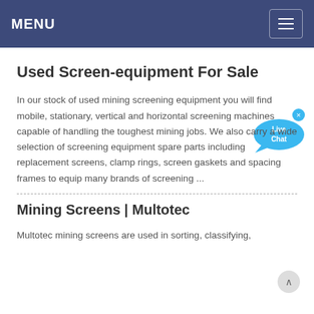MENU
Used Screen-equipment For Sale
In our stock of used mining screening equipment you will find mobile, stationary, vertical and horizontal screening machines capable of handling the toughest mining jobs. We also carry a wide selection of screening equipment spare parts including replacement screens, clamp rings, screen gaskets and spacing frames to equip many brands of screening ...
Mining Screens | Multotec
Multotec mining screens are used in sorting, classifying,